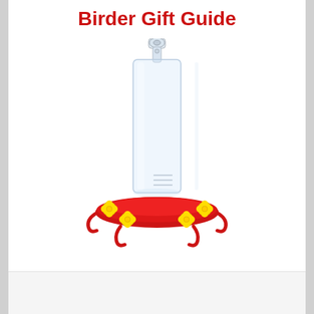Birder Gift Guide
[Figure (photo): A hummingbird feeder with a clear cylindrical glass tube, a red circular base with four yellow flower-shaped feeding ports, a suction-cup hanger on top, and small red perch extensions around the base.]